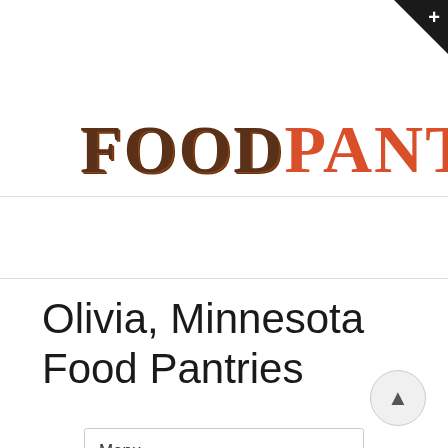FOODPANTRIES.ORG
Menu
Olivia, Minnesota Food Pantries
Home / Minnesota Food Pantry / Olivia